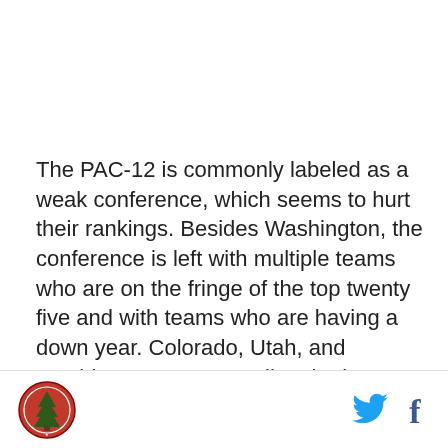The PAC-12 is commonly labeled as a weak conference, which seems to hurt their rankings. Besides Washington, the conference is left with multiple teams who are on the fringe of the top twenty five and with teams who are having a down year. Colorado, Utah, and Washington State are all at the bottom half of the CFB poll and are all behind other two loss teams. I completely agree with Colorado's ranking in the CFB poll. With two definitive loses and missing a
[logo] [twitter] [facebook]